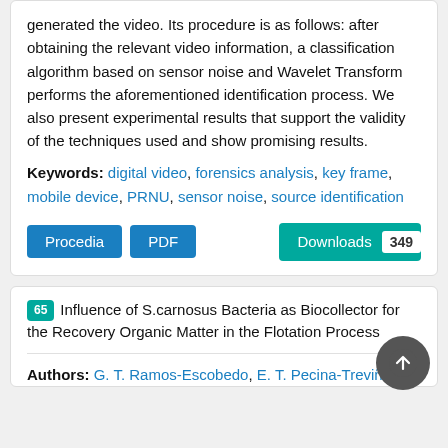generated the video. Its procedure is as follows: after obtaining the relevant video information, a classification algorithm based on sensor noise and Wavelet Transform performs the aforementioned identification process. We also present experimental results that support the validity of the techniques used and show promising results.
Keywords: digital video, forensics analysis, key frame, mobile device, PRNU, sensor noise, source identification
Procedia  PDF  Downloads 349
65 Influence of S.carnosus Bacteria as Biocollector for the Recovery Organic Matter in the Flotation Process
Authors: G. T. Ramos-Escobedo, E. T. Pecina-Treviño, L.